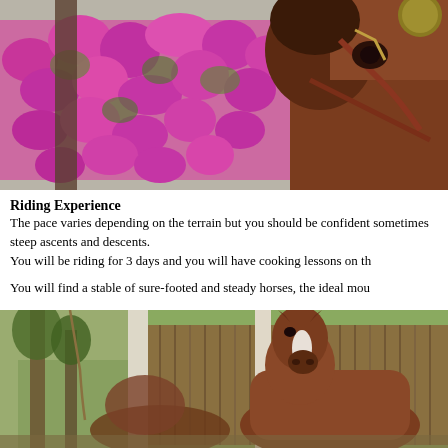[Figure (photo): Close-up of a brown horse wearing a bridle with pink/magenta petunia flowers cascading from hanging baskets in the background, stone wall visible]
Riding Experience
The pace varies depending on the terrain but you should be confident sometimes steep ascents and descents.
You will be riding for 3 days and you will have cooking lessons on th

You will find a stable of sure-footed and steady horses, the ideal mou
[Figure (photo): Brown horse with white blaze standing inside a rustic wooden stable structure with log posts and bamboo or reed walls, trees visible in background]